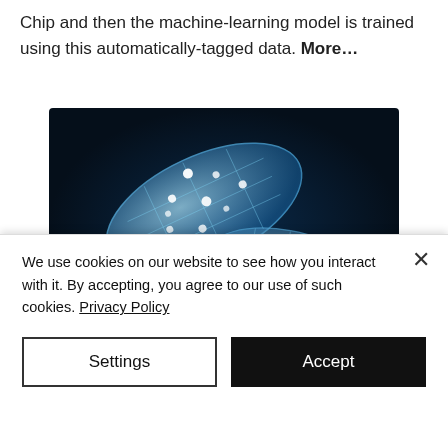Chip and then the machine-learning model is trained using this automatically-tagged data. More…
[Figure (photo): Two glowing blue wireframe/network capsule pills against a dark background, representing digital pharmaceutical or medical technology.]
Pipeline:
We use cookies on our website to see how you interact with it. By accepting, you agree to our use of such cookies. Privacy Policy
Settings
Accept